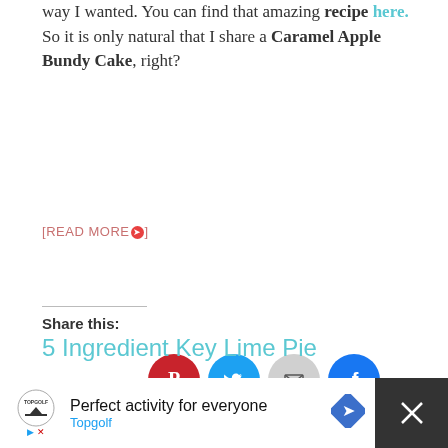way I wanted. You can find that amazing recipe here. So it is only natural that I share a Caramel Apple Bundy Cake, right?
[READ MORE➔]
Share this:
[Figure (infographic): Four social sharing buttons: Pinterest (red circle with P icon and 150 count badge), Twitter (blue circle with bird icon), Email (gray circle with envelope icon), Facebook (blue circle with f icon)]
5 Ingredient Key Lime Pie
November 25, 2013 by MYRECIPECONFESSIONS
[Figure (infographic): Advertisement bar: TopGolf ad - Perfect activity for everyone, Topgolf, with close button]